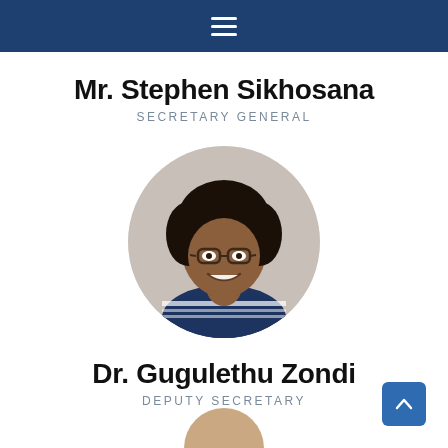Navigation bar with hamburger menu
Mr. Stephen Sikhosana
SECRETARY GENERAL
[Figure (photo): Circular portrait photo of Dr. Gugulethu Zondi, a woman with curly dark hair and glasses, wearing a navy blue and white striped top, smiling.]
Dr. Gugulethu Zondi
DEPUTY SECRETARY